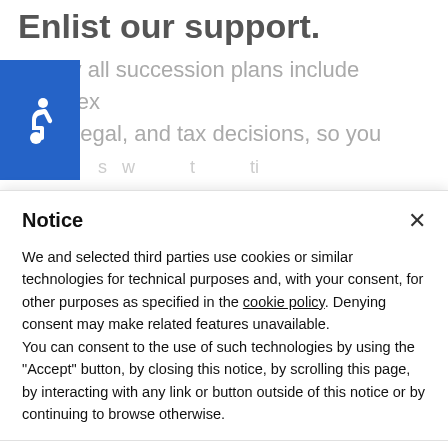Enlist our support.
Nearly all succession plans include complex financial, legal, and tax decisions, so you…
[Figure (other): Blue accessibility icon with wheelchair symbol]
Notice
We and selected third parties use cookies or similar technologies for technical purposes and, with your consent, for other purposes as specified in the cookie policy. Denying consent may make related features unavailable.
You can consent to the use of such technologies by using the "Accept" button, by closing this notice, by scrolling this page, by interacting with any link or button outside of this notice or by continuing to browse otherwise.
Accept
Learn more and customize